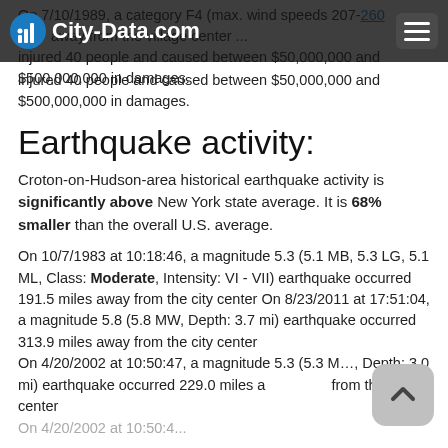City-Data.com
On 7/10/1989, a category F4 (max. wind speeds 207-260 mph) ... away from the village center ... injured 40 people and caused between $50,000,000 and $500,000,000 in damages.
Earthquake activity:
Croton-on-Hudson-area historical earthquake activity is significantly above New York state average. It is 68% smaller than the overall U.S. average.
On 10/7/1983 at 10:18:46, a magnitude 5.3 (5.1 MB, 5.3 LG, 5.1 ML, Class: Moderate, Intensity: VI - VII) earthquake occurred 191.5 miles away from the city center On 8/23/2011 at 17:51:04, a magnitude 5.8 (5.8 MW, Depth: 3.7 mi) earthquake occurred 313.9 miles away from the city center On 4/20/2002 at 10:50:47, a magnitude 5.3 (5.3 M, Depth: 3.0 mi) earthquake occurred 229.0 miles away from the city center On 4/20/2002 at 10:50:47, a magnitude 5.3 (5.3 MB, 4...